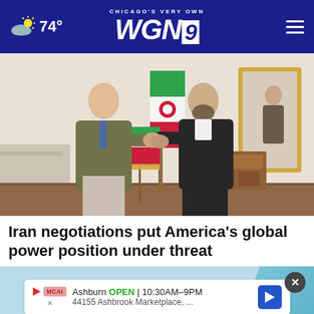CHICAGO'S VERY OWN WGN9 — 74°
[Figure (photo): Two men shaking hands in front of an Iranian flag. The man on the left wears a dark olive blazer with a blue tie; the man on the right wears a black suit. A small Iranian flag on a stand is visible in the foreground. A gold-framed mirror and wooden furniture are in the background.]
Iran negotiations put America's global power position under threat
[Figure (infographic): Advertisement banner: Ashburn OPEN 10:30AM–9PM, 44155 Ashbrook Marketplace, ... with MCAI logo and blue navigation arrow icon. Close (X) button in top right.]